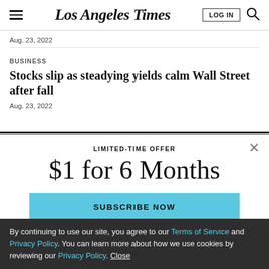Los Angeles Times
Aug. 23, 2022
BUSINESS
Stocks slip as steadying yields calm Wall Street after fall
Aug. 23, 2022
LIMITED-TIME OFFER
$1 for 6 Months
SUBSCRIBE NOW
By continuing to use our site, you agree to our Terms of Service and Privacy Policy. You can learn more about how we use cookies by reviewing our Privacy Policy. Close